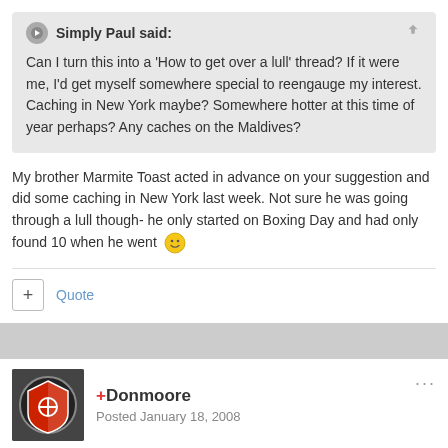Simply Paul said: Can I turn this into a 'How to get over a lull' thread? If it were me, I'd get myself somewhere special to reengauge my interest. Caching in New York maybe? Somewhere hotter at this time of year perhaps? Any caches on the Maldives?
My brother Marmite Toast acted in advance on your suggestion and did some caching in New York last week. Not sure he was going through a lull though- he only started on Boxing Day and had only found 10 when he went
Quote
+Donmoore
Posted January 18, 2008